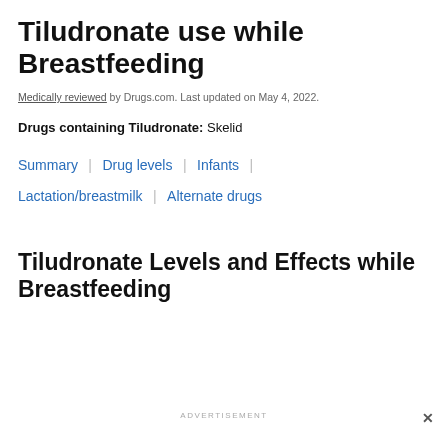Tiludronate use while Breastfeeding
Medically reviewed by Drugs.com. Last updated on May 4, 2022.
Drugs containing Tiludronate: Skelid
Summary | Drug levels | Infants | Lactation/breastmilk | Alternate drugs
Tiludronate Levels and Effects while Breastfeeding
ADVERTISEMENT